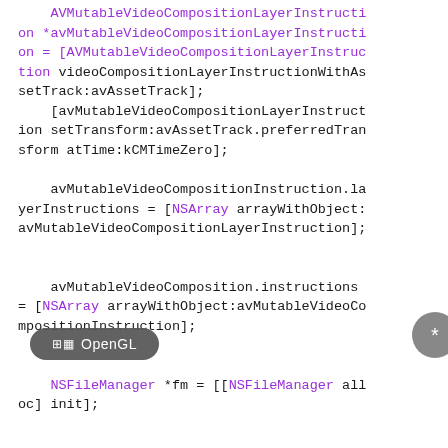AVMutableVideoCompositionLayerInstruction *avMutableVideoCompositionLayerInstruction = [AVMutableVideoCompositionLayerInstruction videoCompositionLayerInstructionWithAssetTrack:avAssetTrack];
    [avMutableVideoCompositionLayerInstruction setTransform:avAssetTrack.preferredTransform atTime:kCMTimeZero];

    avMutableVideoCompositionInstruction.layerInstructions = [NSArray arrayWithObject:avMutableVideoCompositionLayerInstruction];


    avMutableVideoComposition.instructions = [NSArray arrayWithObject:avMutableVideoCompositionInstruction];


    NSFileManager *fm = [[NSFileManager alloc] init];